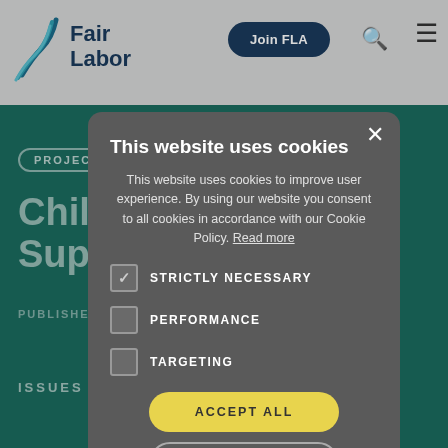[Figure (screenshot): Fair Labor Association website background showing logo, navigation bar with 'Join FLA' button, and teal page with partial title 'Child Labor... Supply...' and 'PUBLISHED... JUNE 8, 2022' text]
This website uses cookies
This website uses cookies to improve user experience. By using our website you consent to all cookies in accordance with our Cookie Policy. Read more
STRICTLY NECESSARY
PERFORMANCE
TARGETING
ACCEPT ALL
DECLINE ALL